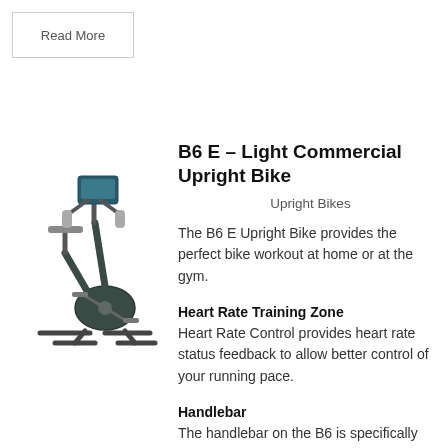Read More
B6 E – Light Commercial Upright Bike
Upright Bikes
The B6 E Upright Bike provides the perfect bike workout at home or at the gym.
[Figure (photo): Upright exercise bike product photo, dark grey/black color with handlebars and seat visible]
Heart Rate Training Zone
Heart Rate Control provides heart rate status feedback to allow better control of your running pace.
Handlebar
The handlebar on the B6 is specifically designed to accommodate workouts ranging